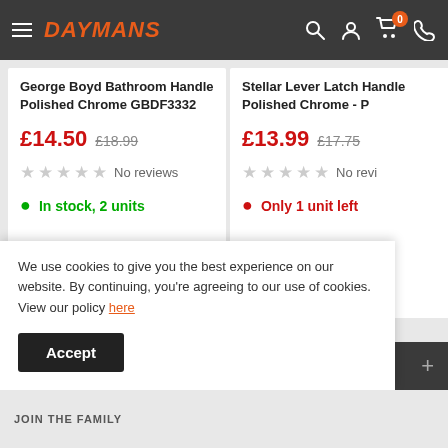DAYMANS — navigation header with search, account, cart (0), phone icons
George Boyd Bathroom Handle Polished Chrome GBDF3332
£14.50  £18.99  No reviews  In stock, 2 units
Stellar Lever Latch Handle Polished Chrome - P...
£13.99  £17.75  No reviews  Only 1 unit left
ABOUT OUR FAMILY STORE
We use cookies to give you the best experience on our website. By continuing, you're agreeing to our use of cookies. View our policy here
Accept
JOIN THE FAMILY